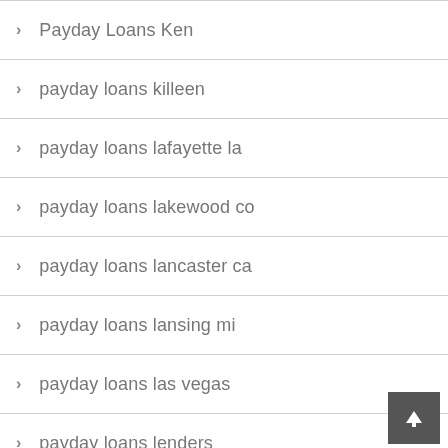Payday Loans Ken
payday loans killeen
payday loans lafayette la
payday loans lakewood co
payday loans lancaster ca
payday loans lansing mi
payday loans las vegas
payday loans lenders
payday loans lewisville tx